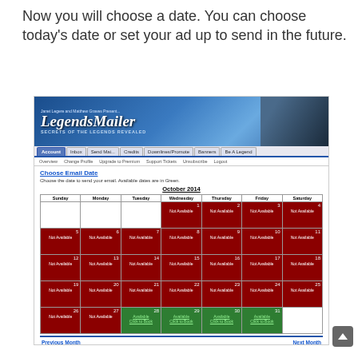Now you will choose a date. You can choose today's date or set your ad up to send in the future.
[Figure (screenshot): Screenshot of LegendsMailer website showing 'Choose Email Date' page with October 2014 calendar. Most dates are marked 'Not Available' in red. Dates 28-31 are green and marked 'Available - Click to Book'.]